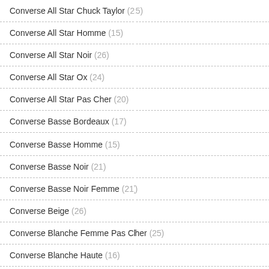Converse All Star Chuck Taylor (25)
Converse All Star Homme (15)
Converse All Star Noir (26)
Converse All Star Ox (24)
Converse All Star Pas Cher (20)
Converse Basse Bordeaux (17)
Converse Basse Homme (15)
Converse Basse Noir (21)
Converse Basse Noir Femme (21)
Converse Beige (26)
Converse Blanche Femme Pas Cher (25)
Converse Blanche Haute (16)
Converse Blanche Haute Femme (15)
Converse Blanche Homme (7)
converse grise femme
€128.32  €63.16  Economie : 51%  €128